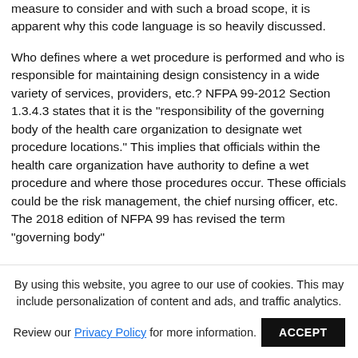environment. With such an important safety measure to consider and with such a broad scope, it is apparent why this code language is so heavily discussed.
Who defines where a wet procedure is performed and who is responsible for maintaining design consistency in a wide variety of services, providers, etc.? NFPA 99-2012 Section 1.3.4.3 states that it is the "responsibility of the governing body of the health care organization to designate wet procedure locations." This implies that officials within the health care organization have authority to define a wet procedure and where those procedures occur. These officials could be the risk management, the chief nursing officer, etc. The 2018 edition of NFPA 99 has revised the term "governing body"
By using this website, you agree to our use of cookies. This may include personalization of content and ads, and traffic analytics.
Review our Privacy Policy for more information.  ACCEPT